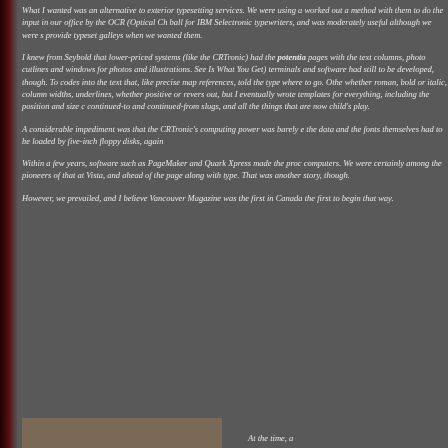What I wanted was an alternative to exterior typesetting services. We were using a worked out a method with them to do the input in our office by the OCR (Optical Ch ball for IBM Selectronic typewriters, and was moderately useful although we were s provide typeset galleys when we wanted them.
I knew from Seybold that lower-priced systems (like the CRTronic) had the potential pages with the text columns, photo cutlines and windows for photos and illustrations. See Is What You Get) terminals and software had still to be developed, though. To codes into the text that, like precise map references, told the type where to go. Othe whether roman, bold or italic, column widths, underlines, whether positive or revers out, but I eventually wrote templates for everything, including the position and size c continued-to and continued-from slugs, and all the things that are now child's play.
A considerable impediment was that the CRTronic's computing power was barely e the data and the fonts themselves had to be loaded by five-inch floppy disks, again
Within a few years, software such as PageMaker and Quark Xpress made the proc computers. We were certainly among the pioneers of that at Vista, and ahead of the page along with type. That was another story, though.
However, we prevailed, and I believe Vancouver Magazine was the first in Canada the first to begin that way.
[Figure (photo): Partial photo visible at bottom left of page]
At the time, a